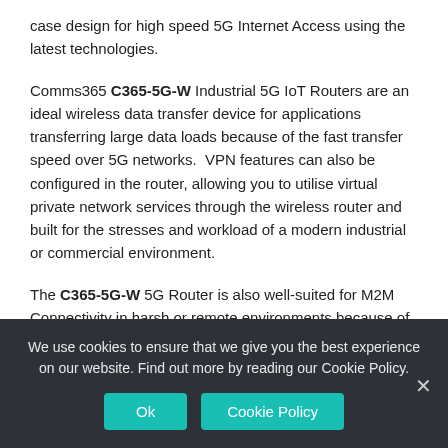case design for high speed 5G Internet Access using the latest technologies.
Comms365 C365-5G-W Industrial 5G IoT Routers are an ideal wireless data transfer device for applications transferring large data loads because of the fast transfer speed over 5G networks. VPN features can also be configured in the router, allowing you to utilise virtual private network services through the wireless router and built for the stresses and workload of a modern industrial or commercial environment.
The C365-5G-W 5G Router is also well-suited for M2M Connectivity in harsh or remote environments because of its rugged metal casing, Input/Output port, DIN-rail mounts and operating range of -30 to +75 degrees.
We use cookies to ensure that we give you the best experience on our website. Find out more by reading our Cookie Policy.